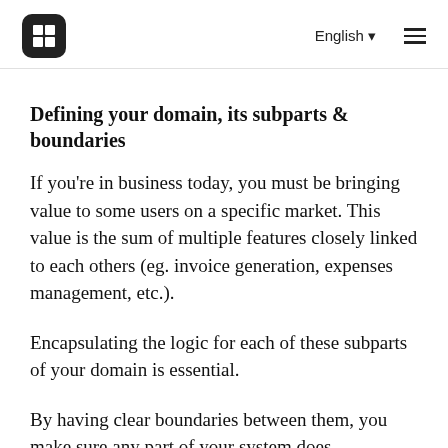English ▾  ☰
Defining your domain, its subparts & boundaries
If you're in business today, you must be bringing value to some users on a specific market. This value is the sum of multiple features closely linked to each others (eg. invoice generation, expenses management, etc.).
Encapsulating the logic for each of these subparts of your domain is essential.
By having clear boundaries between them, you make sure any part of your system does